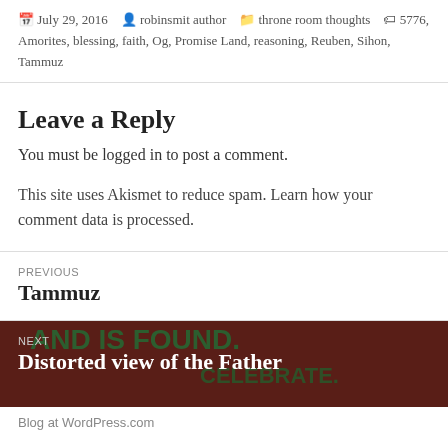July 29, 2016  robinsmit author  throne room thoughts  5776, Amorites, blessing, faith, Og, Promise Land, reasoning, Reuben, Sihon, Tammuz
Leave a Reply
You must be logged in to post a comment.
This site uses Akismet to reduce spam. Learn how your comment data is processed.
PREVIOUS
Tammuz
NEXT
Distorted view of the Father
Blog at WordPress.com